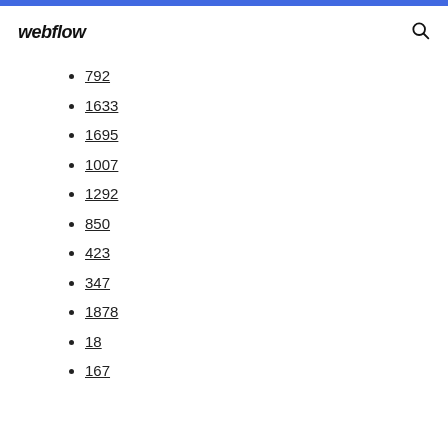webflow
792
1633
1695
1007
1292
850
423
347
1878
18
167